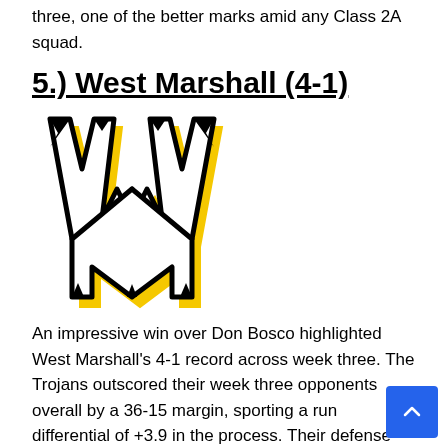three, one of the better marks amid any Class 2A squad.
5.) West Marshall (4-1)
[Figure (logo): West Marshall Trojans logo — a stylized bold 'WM' letter combination in black outline with yellow/gold shadow, on white background]
An impressive win over Don Bosco highlighted West Marshall's 4-1 record across week three. The Trojans outscored their week three opponents overall by a 36-15 margin, sporting a run differential of +3.9 in the process. Their defense has been stellar as well, allowing the